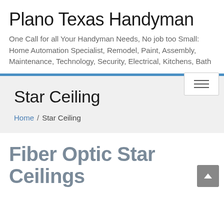Plano Texas Handyman
One Call for all Your Handyman Needs, No job too Small: Home Automation Specialist, Remodel, Paint, Assembly, Maintenance, Technology, Security, Electrical, Kitchens, Bath
Star Ceiling
Home / Star Ceiling
Fiber Optic Star Ceilings